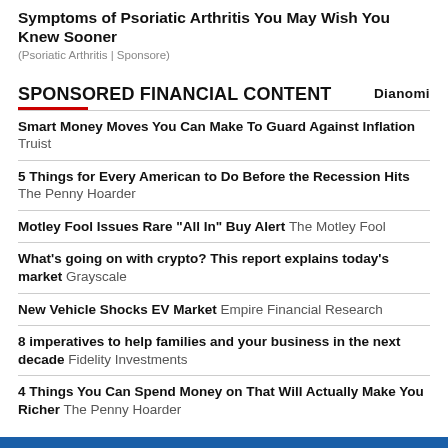Symptoms of Psoriatic Arthritis You May Wish You Knew Sooner
(Psoriatic Arthritis | Sponsore)
SPONSORED FINANCIAL CONTENT
Smart Money Moves You Can Make To Guard Against Inflation  Truist
5 Things for Every American to Do Before the Recession Hits  The Penny Hoarder
Motley Fool Issues Rare "All In" Buy Alert  The Motley Fool
What's going on with crypto? This report explains today's market  Grayscale
New Vehicle Shocks EV Market  Empire Financial Research
8 imperatives to help families and your business in the next decade  Fidelity Investments
4 Things You Can Spend Money on That Will Actually Make You Richer  The Penny Hoarder